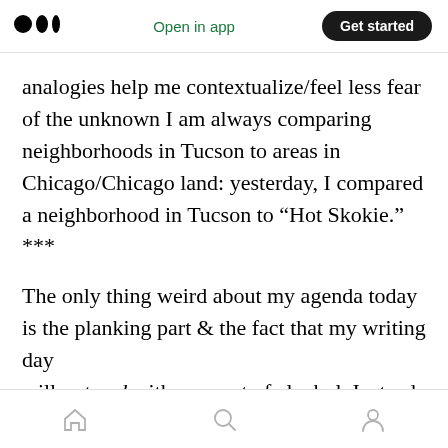Medium logo | Open in app | Get started
analogies help me contextualize/feel less fear of the unknown I am always comparing neighborhoods in Tucson to areas in Chicago/Chicago land: yesterday, I compared a neighborhood in Tucson to “Hot Skokie.” ***
The only thing weird about my agenda today is the planking part & the fact that my writing day will not end with any sort of alcohol. Instead, my day, will conclude with some cannabis, some tea, & probably Ken
Home | Search | Profile